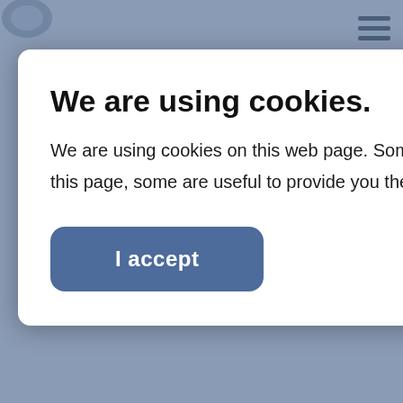[Figure (screenshot): Cookie consent modal dialog overlaying a website page. The modal is white with rounded corners on a steel-blue background. It contains a black 'CLOSE' button in the top-right, a bold title 'We are using cookies.', descriptive body text, and a blue 'I accept' button.]
We are using cookies.
We are using cookies on this web page. Some of them are required to run this page, some are useful to provide you the best web experience.
I accept